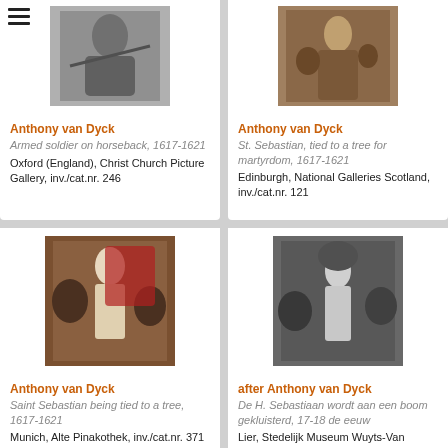[Figure (photo): Grayscale painting of armed soldier on horseback]
Anthony van Dyck
Armed soldier on horseback, 1617-1621
Oxford (England), Christ Church Picture Gallery, inv./cat.nr. 246
[Figure (photo): Color painting of Saint Sebastian tied to a tree]
Anthony van Dyck
St. Sebastian, tied to a tree for martyrdom, 1617-1621
Edinburgh, National Galleries Scotland, inv./cat.nr. 121
[Figure (photo): Color painting of Saint Sebastian being tied to a tree]
Anthony van Dyck
Saint Sebastian being tied to a tree, 1617-1621
Munich, Alte Pinakothek, inv./cat.nr. 371
[Figure (photo): Grayscale painting of De H. Sebastiaan]
after Anthony van Dyck
De H. Sebastiaan wordt aan een boom gekluisterd, 17-18 de eeuw
Lier, Stedelijk Museum Wuyts-Van Campen en Baron Caroly, inv./cat.nr. 39